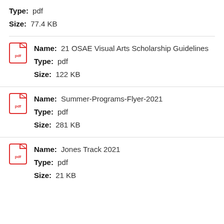Type: pdf
Size: 77.4 KB
Name: 21 OSAE Visual Arts Scholarship Guidelines
Type: pdf
Size: 122 KB
Name: Summer-Programs-Flyer-2021
Type: pdf
Size: 281 KB
Name: Jones Track 2021
Type: pdf
Size: 21 KB